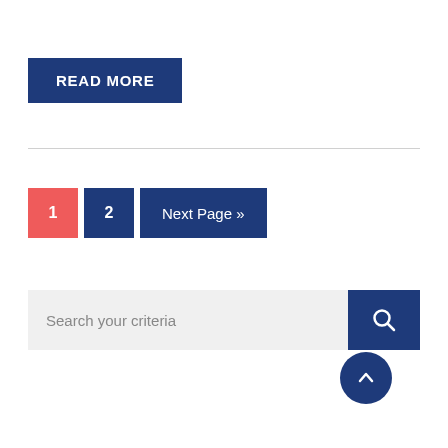READ MORE
1  2  Next Page »
Search your criteria